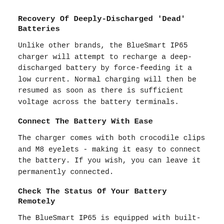Recovery Of Deeply-Discharged 'Dead' Batteries
Unlike other brands, the BlueSmart IP65 charger will attempt to recharge a deep-discharged battery by force-feeding it a low current. Normal charging will then be resumed as soon as there is sufficient voltage across the battery terminals.
Connect The Battery With Ease
The charger comes with both crocodile clips and M8 eyelets - making it easy to connect the battery. If you wish, you can leave it permanently connected.
Check The Status Of Your Battery Remotely
The BlueSmart IP65 is equipped with built-in Bluetooth, so the status of the charger and the battery can be checked on a smartphone, tablet or laptop. All settings of the charger can be configured with the VictronConnect app.